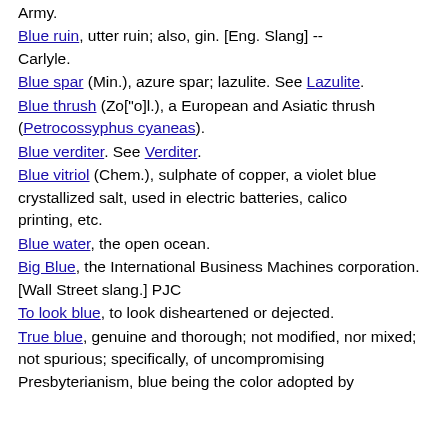Army.
Blue ruin, utter ruin; also, gin. [Eng. Slang] -- Carlyle.
Blue spar (Min.), azure spar; lazulite. See Lazulite.
Blue thrush (Zo["o]l.), a European and Asiatic thrush (Petrocossyphus cyaneas).
Blue verditer. See Verditer.
Blue vitriol (Chem.), sulphate of copper, a violet blue crystallized salt, used in electric batteries, calico printing, etc.
Blue water, the open ocean.
Big Blue, the International Business Machines corporation. [Wall Street slang.] PJC
To look blue, to look disheartened or dejected.
True blue, genuine and thorough; not modified, nor mixed; not spurious; specifically, of uncompromising Presbyterianism, blue being the color adopted by